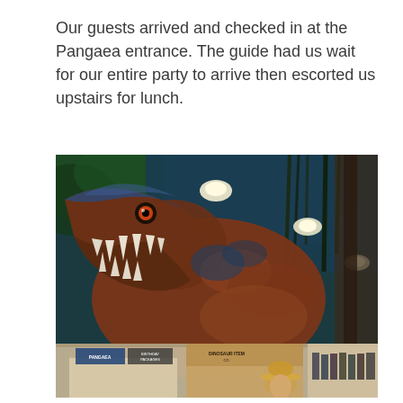Our guests arrived and checked in at the Pangaea entrance. The guide had us wait for our entire party to arrive then escorted us upstairs for lunch.
[Figure (photo): A large mural or animatronic display of a roaring T-Rex dinosaur with open jaws showing sharp teeth, colorful scales in brown/blue/red, set against a dark jungle background with hanging vines and ceiling lights. In the foreground at the bottom are merchandise/display counters with signs reading 'PANGAEA', 'BIRTHDAY PACKAGES', 'DINOSAUR ITEM CO.', and a person wearing a cowboy hat.]